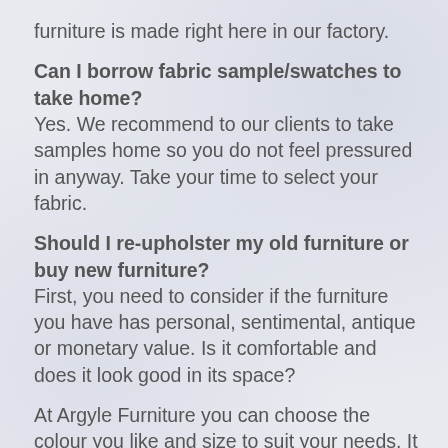furniture is made right here in our factory.
Can I borrow fabric sample/swatches to take home? Yes. We recommend to our clients to take samples home so you do not feel pressured in anyway. Take your time to select your fabric.
Should I re-upholster my old furniture or buy new furniture? First, you need to consider if the furniture you have has personal, sentimental, antique or monetary value. Is it comfortable and does it look good in its space?
At Argyle Furniture you can choose the colour you like and size to suit your needs. It is also often possible to change the shape of the furniture to some extent, so it can match similar one from a magazine or picture.
A very large percent of import furniture is built out of soft wood, particle board, and cardboard. Often when the price of new furniture is low, the materials that make up the furniture are not good quality. When you buy new furniture